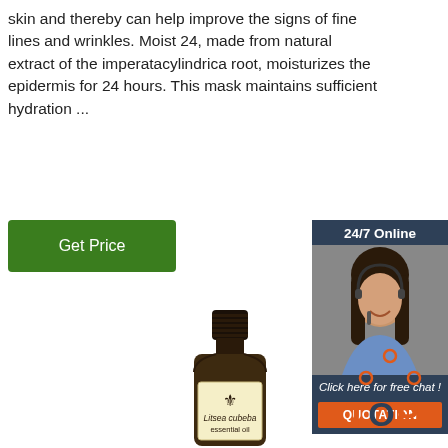skin and thereby can help improve the signs of fine lines and wrinkles. Moist 24, made from natural extract of the imperatacylindrica root, moisturizes the epidermis for 24 hours. This mask maintains sufficient hydration ...
[Figure (other): Green 'Get Price' button]
[Figure (other): Sidebar with '24/7 Online' header, customer service representative photo with headset, 'Click here for free chat!' text, and orange 'QUOTATION' button]
[Figure (photo): Dark amber glass bottle labeled 'Litsea cubeba essential oil' with fleur-de-lis logo on cream label]
[Figure (other): TOP icon with orange dots arranged in triangle and orange 'TOP' text with dark 'O']